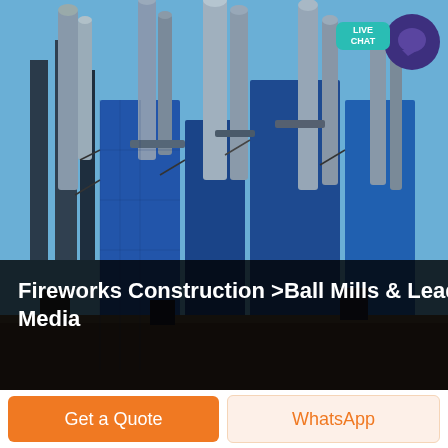[Figure (photo): Industrial machinery with tall metal towers, silos, and blue panels against a blue sky. Factory or processing plant exterior.]
Fireworks Construction >Ball Mills & Lead Media
100pc 455" Ball Mill Lead Media - 19 lbs Score: 500 (votes: 1) No reviews $2399 Add to cart 3 Lb Rotary Ball Mill Not rated yet $6799 Only 6 left in stock
Get a Quote
WhatsApp